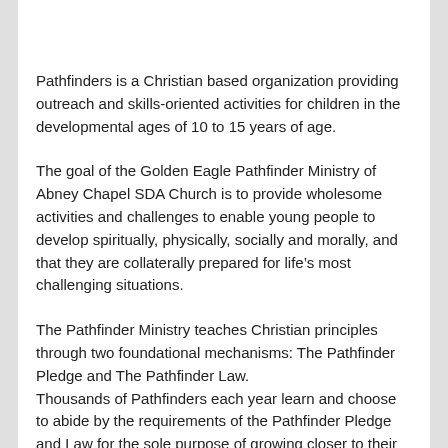Pathfinders is a Christian based organization providing outreach and skills-oriented activities for children in the developmental ages of 10 to 15 years of age.
The goal of the Golden Eagle Pathfinder Ministry of Abney Chapel SDA Church is to provide wholesome activities and challenges to enable young people to develop spiritually, physically, socially and morally, and that they are collaterally prepared for life’s most challenging situations.
The Pathfinder Ministry teaches Christian principles through two foundational mechanisms: The Pathfinder Pledge and The Pathfinder Law.
Thousands of Pathfinders each year learn and choose to abide by the requirements of the Pathfinder Pledge and Law for the sole purpose of growing closer to their Creator and to others, regardless of their particular life demographic.
Additionally, The Pathfinders provide opportunities for the youth to earn honors in skills ranging in basic household crafts, nature studies, to rescue and various other areas, over 175 different...